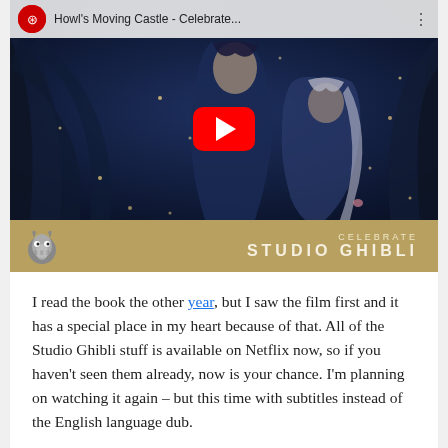[Figure (screenshot): YouTube video embed thumbnail for 'Howl's Moving Castle - Celebrate...' showing anime characters Howl and Sophie against a dark blue background with a Celebrate Studio Ghibli banner at the bottom. Features a red YouTube play button in the center, YouTube logo and video title in the top bar, and a Totoro icon in the bottom gold bar.]
I read the book the other year, but I saw the film first and it has a special place in my heart because of that. All of the Studio Ghibli stuff is available on Netflix now, so if you haven't seen them already, now is your chance. I'm planning on watching it again – but this time with subtitles instead of the English language dub.
Voila – a few ideas from me. Please put any suggestions you